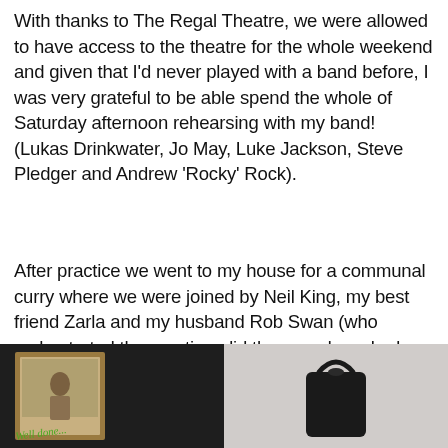With thanks to The Regal Theatre, we were allowed to have access to the theatre for the whole weekend and given that I'd never played with a band before, I was very grateful to be able spend the whole of Saturday afternoon rehearsing with my band! (Lukas Drinkwater, Jo May, Luke Jackson, Steve Pledger and Andrew 'Rocky' Rock).
After practice we went to my house for a communal curry where we were joined by Neil King, my best friend Zarla and my husband Rob Swan (who orchestrated the practice, did the sound, cooked an amazing curry and pampered us all) and we all ended the evening with one or two drinks
[Figure (photo): Left photo showing a framed photograph with 'Well done' written in green text, dark background]
[Figure (photo): Right photo showing a black vase or object against a light grey/white background]